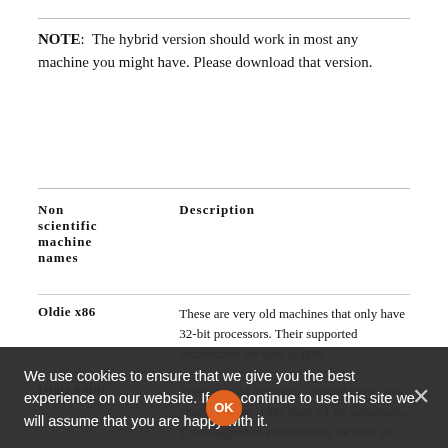NOTE: The hybrid version should work in most any machine you might have. Please download that version.
| Non scientific machine names | Description |
| --- | --- |
| Oldie x86 | These are very old machines that only have 32-bit processors. Their supported architecture for boot is i386. |
| Oldie 64bit | These are old machines, usually from 2010 year or before. They have 64-bit processors. Their supported architectures for boot are: i386 and x86_64. |
| UEFI 64bit | These are new machines, usually from 2011 year or after. They have 64-bit processors. Their supported architecture for boot is: x86_64-efi. If you enable CSM (also known as legacy boot) support on them they also support i386 and |
We use cookies to ensure that we give you the best experience on our website. If you continue to use this site we will assume that you are happy with it.